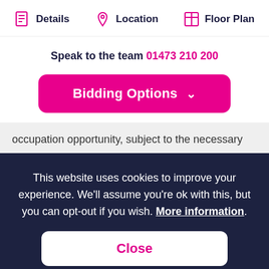Details | Location | Floor Plan
Speak to the team 01473 210 200
[Figure (other): Pink rounded button labeled 'Bidding Options' with a chevron/dropdown arrow]
occupation opportunity, subject to the necessary
This website uses cookies to improve your experience. We'll assume you're ok with this, but you can opt-out if you wish. More information.
Close